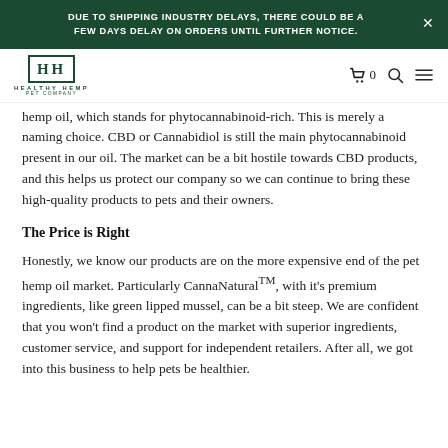DUE TO SHIPPING INDUSTRY DELAYS, THERE COULD BE A FEW DAYS DELAY ON ORDERS UNTIL FURTHER NOTICE.
[Figure (logo): Healthy Hemp Pet Company logo with HH monogram in green border]
hemp oil, which stands for phytocannabinoid-rich. This is merely a naming choice. CBD or Cannabidiol is still the main phytocannabinoid present in our oil. The market can be a bit hostile towards CBD products, and this helps us protect our company so we can continue to bring these high-quality products to pets and their owners.
The Price is Right
Honestly, we know our products are on the more expensive end of the pet hemp oil market. Particularly CannaNaturalTM, with it’s premium ingredients, like green lipped mussel, can be a bit steep. We are confident that you won’t find a product on the market with superior ingredients, customer service, and support for independent retailers. After all, we got into this business to help pets be healthier.